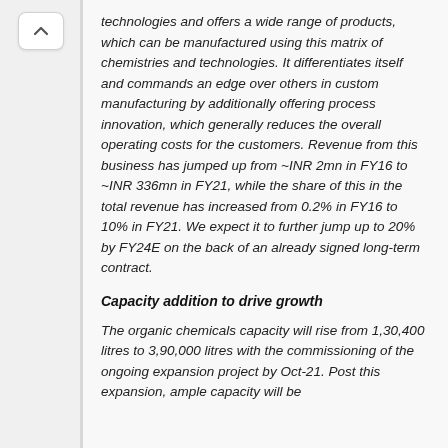technologies and offers a wide range of products, which can be manufactured using this matrix of chemistries and technologies. It differentiates itself and commands an edge over others in custom manufacturing by additionally offering process innovation, which generally reduces the overall operating costs for the customers. Revenue from this business has jumped up from ~INR 2mn in FY16 to ~INR 336mn in FY21, while the share of this in the total revenue has increased from 0.2% in FY16 to 10% in FY21. We expect it to further jump up to 20% by FY24E on the back of an already signed long-term contract.
Capacity addition to drive growth
The organic chemicals capacity will rise from 1,30,400 litres to 3,90,000 litres with the commissioning of the ongoing expansion project by Oct-21. Post this expansion, ample capacity will be